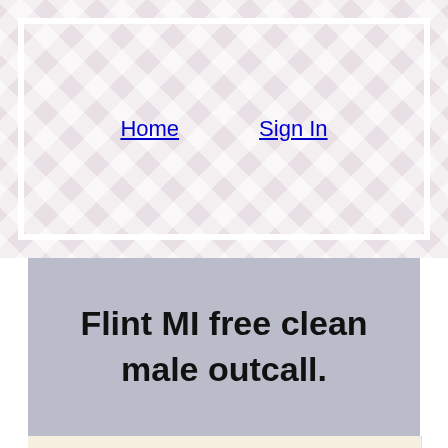Home   Sign In
Flint MI free clean male outcall.
[Figure (photo): A person photographed from behind in a room with shelves containing pottery, teapots, a basket, and various ceramic vessels. Watermark text reads 'campingrancho... com']